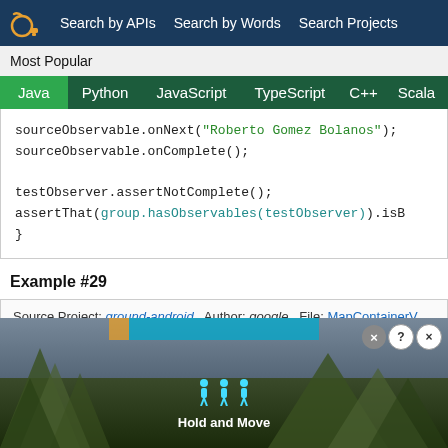Search by APIs  Search by Words  Search Projects
Most Popular
Java  Python  JavaScript  TypeScript  C++  Scala
sourceObservable.onNext("Roberto Gomez Bolanos");
sourceObservable.onComplete();

testObserver.assertNotComplete();
assertThat(group.hasObservables(testObserver)).isB
Example #29
Source Project: ground-android  Author: google  File: MapContainerV  License 2.0
[Figure (screenshot): Advertisement banner showing 'Hold and Move' app with walking figure icons and trees in background, with close and help buttons.]